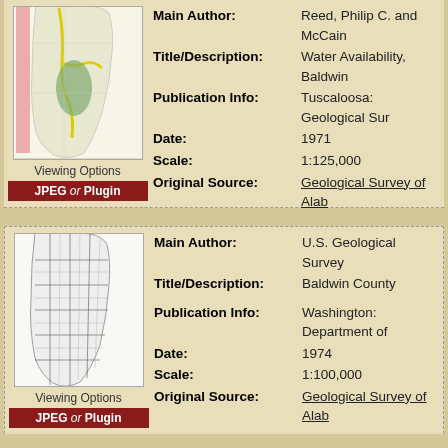[Figure (map): Thumbnail map of Baldwin County showing geological/water features with pink, yellow, and green colored regions]
Viewing Options
JPEG or Plugin
Main Author: Reed, Philip C. and McCain
Title/Description: Water Availability, Baldwin
Publication Info: Tuscaloosa: Geological Sur
Date: 1971
Scale: 1:125,000
Original Source: Geological Survey of Alab
[Figure (map): Thumbnail map of Baldwin County showing road/grid network in black and white]
Viewing Options
JPEG or Plugin
Main Author: U.S. Geological Survey
Title/Description: Baldwin County
Publication Info: Washington: Department of
Date: 1974
Scale: 1:100,000
Original Source: Geological Survey of Alab